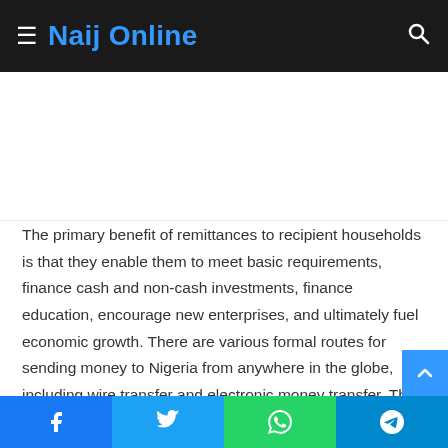Naij Online
The primary benefit of remittances to recipient households is that they enable them to meet basic requirements, finance cash and non-cash investments, finance education, encourage new enterprises, and ultimately fuel economic growth. There are various formal routes for sending money to Nigeria from anywhere in the globe, including wire transfer and electronic money transfer. This page discusses the various methods